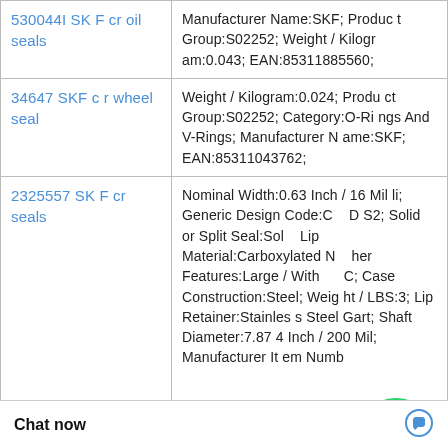| Product | Details |
| --- | --- |
| 530044I SKF cr oil seals | Manufacturer Name:SKF; Product Group:S02252; Weight / Kilogram:0.043; EAN:85311885560; |
| 34647 SKF cr wheel seal | Weight / Kilogram:0.024; Product Group:S02252; Category:O-Rings And V-Rings; Manufacturer Name:SKF; EAN:85311043762; |
| 2325557 SKF cr seals | Nominal Width:0.63 Inch / 16 Milli; Generic Design Code:C_DS2; Solid or Split Seal:Solid; Lip Material:Carboxylated N...; Other Features:Large / With Inner C; Case Construction:Steel; Weight / LBS:3; Lip Retainer:Stainless Steel Gart; Shaft Diameter:7.874 Inch / 200 Mil; Manufacturer Item Numb |
|  | tainless Steel Gar Seals; Weight / K Noun:Seal; Manuf |
[Figure (other): WhatsApp Online green circle icon with phone handset, with 'WhatsApp Online' label overlay]
Chat now